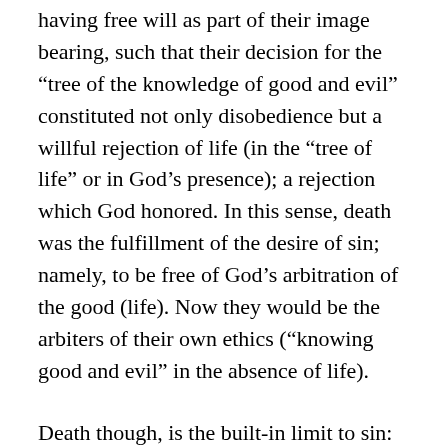having free will as part of their image bearing, such that their decision for the “tree of the knowledge of good and evil” constituted not only disobedience but a willful rejection of life (in the “tree of life” or in God’s presence); a rejection which God honored. In this sense, death was the fulfillment of the desire of sin; namely, to be free of God’s arbitration of the good (life). Now they would be the arbiters of their own ethics (“knowing good and evil” in the absence of life).
Death though, is the built-in limit to sin: “But He set a bound to his [state of] sin, by interposing death, and thus causing sin to cease, putting an end to it by the dissolution of